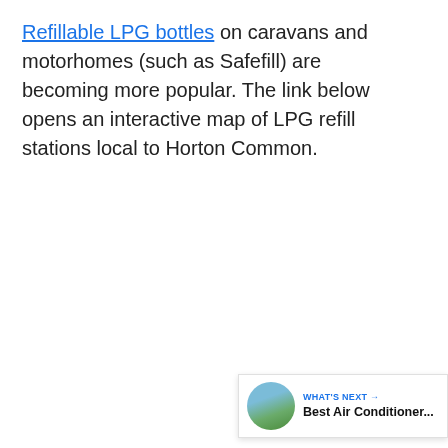Refillable LPG bottles on caravans and motorhomes (such as Safefill) are becoming more popular. The link below opens an interactive map of LPG refill stations local to Horton Common.
[Figure (other): UI widget: blue circular heart/like button, like count '10', and circular share button with share icon]
[Figure (other): What's Next widget showing a landscape thumbnail photo and text 'WHAT'S NEXT → Best Air Conditioner...']